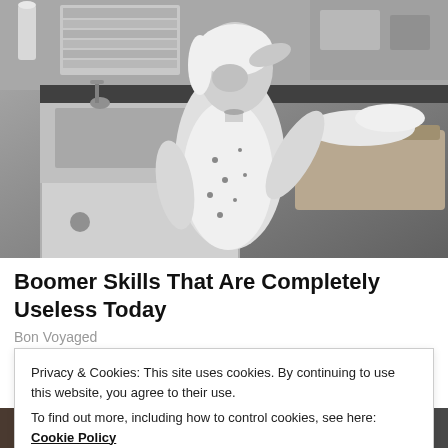[Figure (photo): Black and white vintage photo of a woman in a floral apron and dress standing in a kitchen, hand raised to her forehead, with a laundry basket on the counter beside her.]
Boomer Skills That Are Completely Useless Today
Bon Voyaged
Privacy & Cookies: This site uses cookies. By continuing to use this website, you agree to their use.
To find out more, including how to control cookies, see here: Cookie Policy
Close and accept
[Figure (photo): Partial bottom strip of another photo showing faces.]